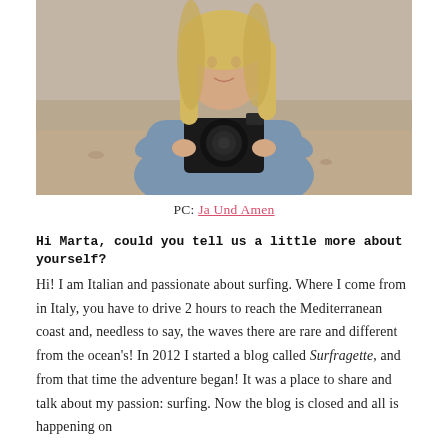[Figure (photo): A blonde woman holding a Canon DSLR camera at a beach, wearing a denim shirt, smiling at the camera]
PC: Ja Und Amen
Hi Marta, could you tell us a little more about yourself?
Hi! I am Italian and passionate about surfing. Where I come from in Italy, you have to drive 2 hours to reach the Mediterranean coast and, needless to say, the waves there are rare and different from the ocean's! In 2012 I started a blog called Surfragette, and from that time the adventure began! It was a place to share and talk about my passion: surfing. Now the blog is closed and all is happening on